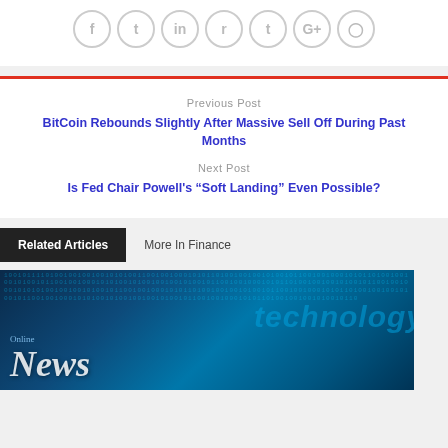[Figure (other): Social media share icons in circles: Facebook, Twitter, LinkedIn, Reddit, Tumblr, Google+, Pinterest]
Previous Post
BitCoin Rebounds Slightly After Massive Sell Off During Past Months
Next Post
Is Fed Chair Powell's “Soft Landing” Even Possible?
Related Articles
More In Finance
[Figure (photo): Technology news background image with blue binary code overlay and the words 'News' and 'technology' overlaid in white and blue text]